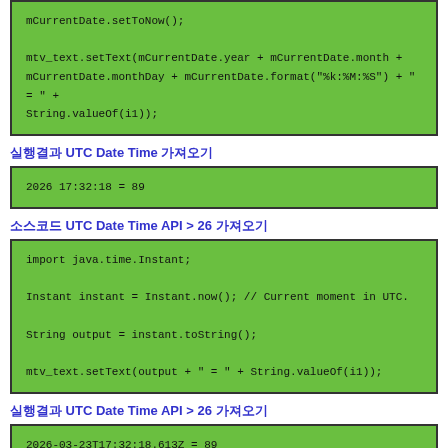mCurrentDate.setToNow();

mtv_text.setText(mCurrentDate.year + mCurrentDate.month +
mCurrentDate.monthDay + mCurrentDate.format("%k:%M:%S") + " = " +
String.valueOf(i1));
실행결과 UTC Date Time 가져오기
2026 17:32:18 = 89
소스코드 UTC Date Time API > 26 가져오기
import java.time.Instant;

Instant instant = Instant.now(); // Current moment in UTC.

String output = instant.toString();

mtv_text.setText(output + " = " + String.valueOf(i1));
실행결과 UTC Date Time API > 26 가져오기
2026-03-23T17:32:18.613Z = 89
소스코드 UTC Date Time 가져오기